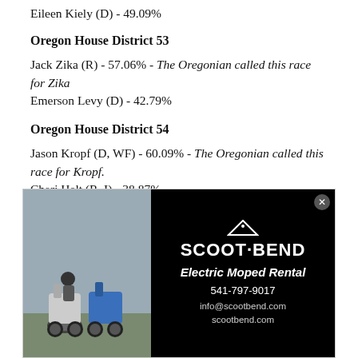Eileen Kiely (D) - 49.09%
Oregon House District 53
Jack Zika (R) - 57.06% - The Oregonian called this race for Zika
Emerson Levy (D) - 42.79%
Oregon House District 54
Jason Kropf (D, WF) - 60.09% - The Oregonian called this race for Kropf.
Cheri Helt (R, I) - 38.87%
Oregon Attorney General
Ellen Rosenblum (D) - 57.7% - The Oregonian called this race for Rosenblum.
[Figure (advertisement): Scoot Bend Electric Moped Rental advertisement with photo of two mopeds and contact info: 541-797-9017, info@scootbend.com, scootbend.com]